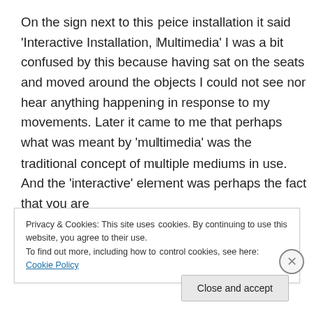On the sign next to this peice installation it said ‘Interactive Installation, Multimedia’ I was a bit confused by this because having sat on the seats and moved around the objects I could not see nor hear anything happening in response to my movements. Later it came to me that perhaps what was meant by ‘multimedia’ was the traditional concept of multiple mediums in use. And the ‘interactive’ element was perhaps the fact that you are
Privacy & Cookies: This site uses cookies. By continuing to use this website, you agree to their use.
To find out more, including how to control cookies, see here: Cookie Policy
Close and accept